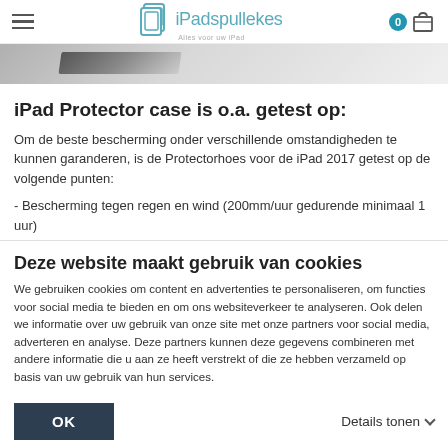iPadspullekes
[Figure (photo): Partial view of iPad protector case, dark/grey gradient strip at top]
iPad Protector case is o.a. getest op:
Om de beste bescherming onder verschillende omstandigheden te kunnen garanderen, is de Protectorhoes voor de iPad 2017 getest op de volgende punten:
- Bescherming tegen regen en wind (200mm/uur gedurende minimaal 1 uur)
Deze website maakt gebruik van cookies
We gebruiken cookies om content en advertenties te personaliseren, om functies voor social media te bieden en om ons websiteverkeer te analyseren. Ook delen we informatie over uw gebruik van onze site met onze partners voor social media, adverteren en analyse. Deze partners kunnen deze gegevens combineren met andere informatie die u aan ze heeft verstrekt of die ze hebben verzameld op basis van uw gebruik van hun services.
OK
Details tonen